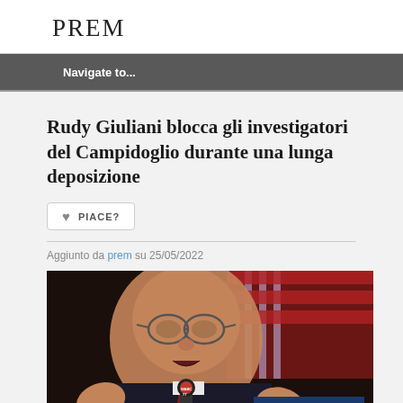PREM
Navigate to...
Rudy Giuliani blocca gli investigatori del Campidoglio durante una lunga deposizione
♥ PIACE?
Aggiunto da prem su 25/05/2022
[Figure (photo): Photo of Rudy Giuliani speaking at a podium with WABC 77 microphone, hands raised, with The Guardian logo overlay in bottom right corner]